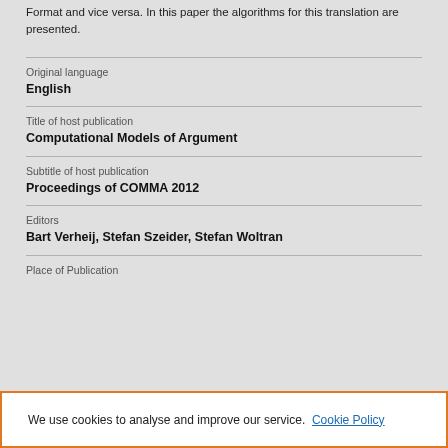Format and vice versa. In this paper the algorithms for this translation are presented.
| Original language | English |
| Title of host publication | Computational Models of Argument |
| Subtitle of host publication | Proceedings of COMMA 2012 |
| Editors | Bart Verheij, Stefan Szeider, Stefan Woltran |
| Place of Publication |  |
We use cookies to analyse and improve our service. Cookie Policy